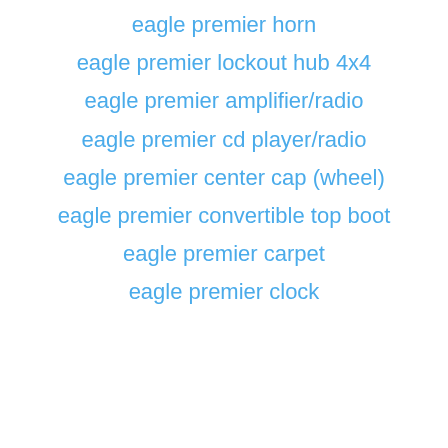eagle premier horn
eagle premier lockout hub 4x4
eagle premier amplifier/radio
eagle premier cd player/radio
eagle premier center cap (wheel)
eagle premier convertible top boot
eagle premier carpet
eagle premier clock